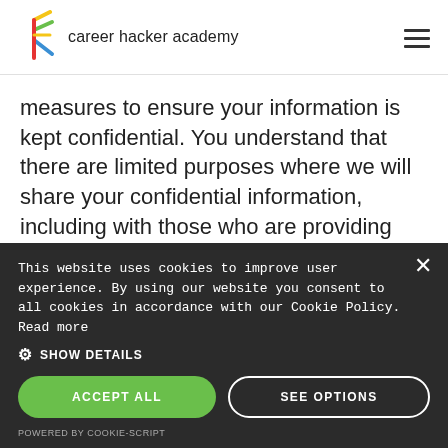career hacker academy
measures to ensure your information is kept confidential. You understand that there are limited purposes where we will share your confidential information, including with those who are providing technical support for our website, or those who are members of our team, including legal and accounting. Any parties who will have access to your information
This website uses cookies to improve user experience. By using our website you consent to all cookies in accordance with our Cookie Policy. Read more
SHOW DETAILS
ACCEPT ALL
SEE OPTIONS
POWERED BY COOKIE-SCRIPT